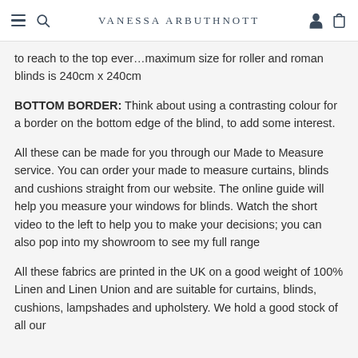VANESSA ARBUTHNOTT
to reach to the top ever...maximum size for roller and roman blinds is 240cm x 240cm
BOTTOM BORDER: Think about using a contrasting colour for a border on the bottom edge of the blind, to add some interest.
All these can be made for you through our Made to Measure service. You can order your made to measure curtains, blinds and cushions straight from our website. The online guide will help you measure your windows for blinds. Watch the short video to the left to help you to make your decisions; you can also pop into my showroom to see my full range
All these fabrics are printed in the UK on a good weight of 100% Linen and Linen Union and are suitable for curtains, blinds, cushions, lampshades and upholstery. We hold a good stock of all our